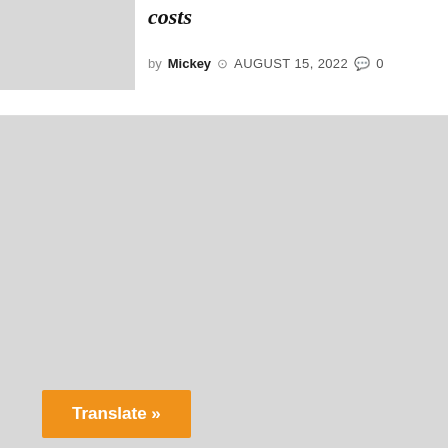[Figure (photo): Thumbnail image placeholder, gray rectangle]
costs
by Mickey  AUGUST 15, 2022  0
[Figure (other): Large gray content area placeholder]
Translate »